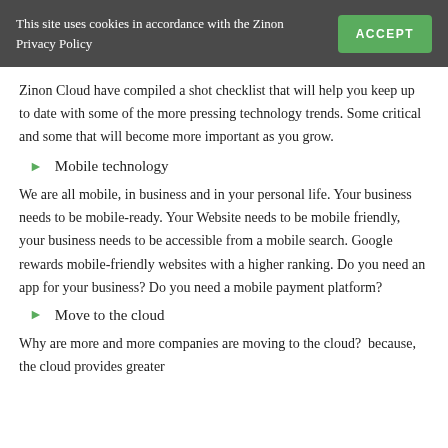This site uses cookies in accordance with the Zinon Privacy Policy  ACCEPT
Zinon Cloud have compiled a shot checklist that will help you keep up to date with some of the more pressing technology trends. Some critical and some that will become more important as you grow.
Mobile technology
We are all mobile, in business and in your personal life. Your business needs to be mobile-ready. Your Website needs to be mobile friendly, your business needs to be accessible from a mobile search. Google rewards mobile-friendly websites with a higher ranking. Do you need an app for your business? Do you need a mobile payment platform?
Move to the cloud
Why are more and more companies are moving to the cloud?  because, the cloud provides greater